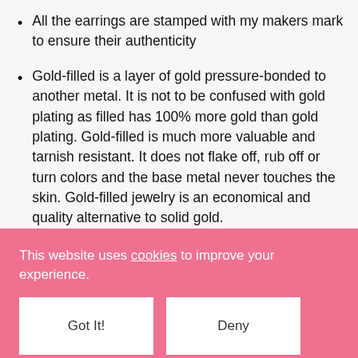All the earrings are stamped with my makers mark to ensure their authenticity
Gold-filled is a layer of gold pressure-bonded to another metal. It is not to be confused with gold plating as filled has 100% more gold than gold plating. Gold-filled is much more valuable and tarnish resistant. It does not flake off, rub off or turn colors and the base metal never touches the skin. Gold-filled jewelry is an economical and quality alternative to solid gold.
Occasion: Everyday/work wear, festive events, perfect gift idea
This website uses cookies to improve your experience.
Got It!
Deny